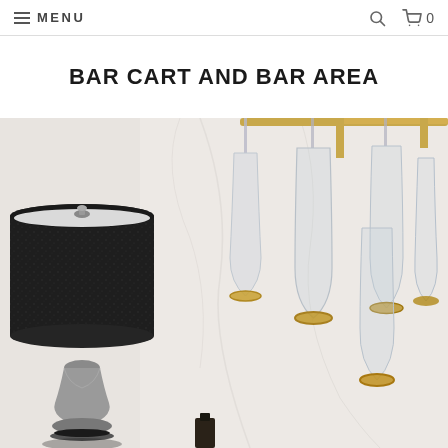≡ MENU  🔍  🛒 0
BAR CART AND BAR AREA
[Figure (photo): Photo of a bar cart area featuring a black drum-shade table lamp with a metallic base, and several inverted wine glasses with gold rims hanging from a rack, set against a white marble background. Gold bar rack visible at top right.]